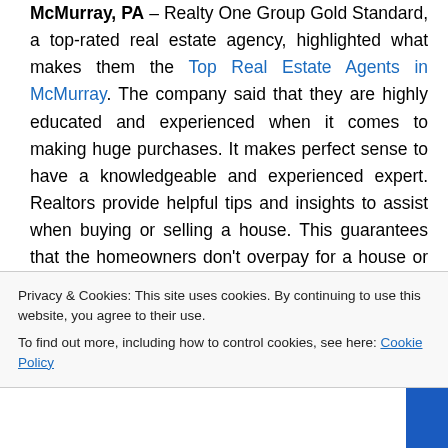McMurray, PA – Realty One Group Gold Standard, a top-rated real estate agency, highlighted what makes them the Top Real Estate Agents in McMurray. The company said that they are highly educated and experienced when it comes to making huge purchases. It makes perfect sense to have a knowledgeable and experienced expert. Realtors provide helpful tips and insights to assist when buying or selling a house. This guarantees that the homeowners don't overpay for a house or sell
Privacy & Cookies: This site uses cookies. By continuing to use this website, you agree to their use.
To find out more, including how to control cookies, see here: Cookie Policy
Close and accept